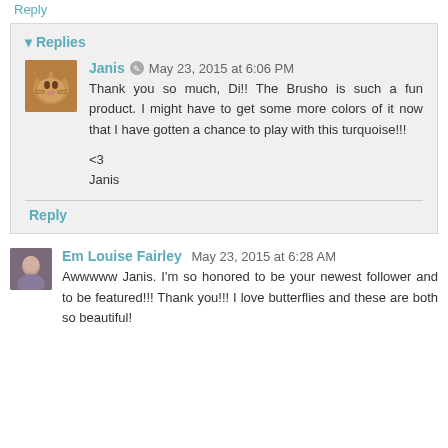Reply
▾ Replies
Janis ✎ May 23, 2015 at 6:06 PM
Thank you so much, Di!! The Brusho is such a fun product. I might have to get some more colors of it now that I have gotten a chance to play with this turquoise!!!

<3
Janis
Reply
Em Louise Fairley  May 23, 2015 at 6:28 AM
Awwwww Janis. I'm so honored to be your newest follower and to be featured!!! Thank you!!! I love butterflies and these are both so beautiful!